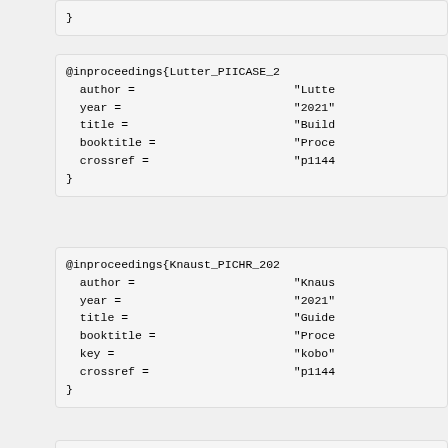}
@inproceedings{Lutter_PIICASE_2
  author =                          "Lutte
  year =                            "2021"
  title =                           "Build
  booktitle =                       "Proce
  crossref =                        "p1144
}
@inproceedings{Knaust_PICHR_202
  author =                          "Knaus
  year =                            "2021"
  title =                           "Guide
  booktitle =                       "Proce
  key =                             "kobo"
  crossref =                        "p1144
}
@article{Lampariello_JGCD_2021,
  author =                          "Lampa
  year =                            "2021"
  title =                           "Robus
  booktitle =                       "Journ